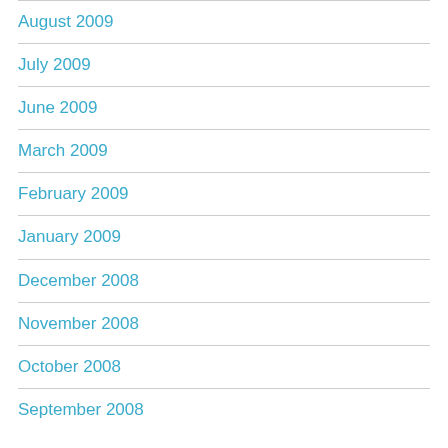August 2009
July 2009
June 2009
March 2009
February 2009
January 2009
December 2008
November 2008
October 2008
September 2008